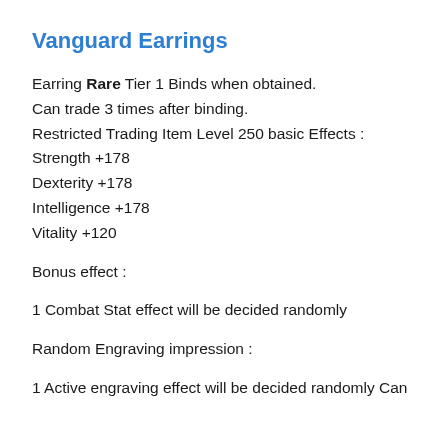Vanguard Earrings
Earring Rare Tier 1 Binds when obtained.
Can trade 3 times after binding.
Restricted Trading Item Level 250 basic Effects :
Strength +178
Dexterity +178
Intelligence +178
Vitality +120
Bonus effect :
1 Combat Stat effect will be decided randomly
Random Engraving impression :
1 Active engraving effect will be decided randomly Can